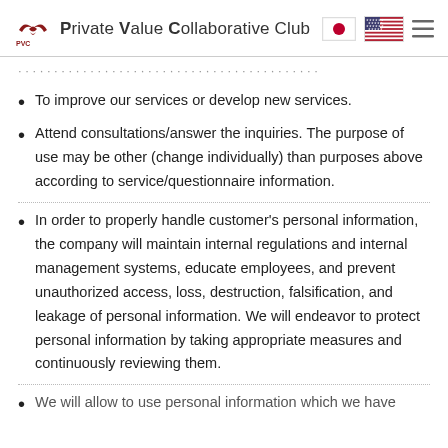Private Value Collaborative Club
To improve our services or develop new services.
Attend consultations/answer the inquiries. The purpose of use may be other (change individually) than purposes above according to service/questionnaire information.
In order to properly handle customer's personal information, the company will maintain internal regulations and internal management systems, educate employees, and prevent unauthorized access, loss, destruction, falsification, and leakage of personal information. We will endeavor to protect personal information by taking appropriate measures and continuously reviewing them.
We will allow to use personal information which we have...